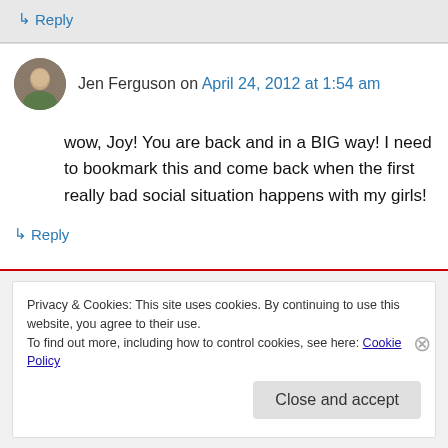↳ Reply
Jen Ferguson on April 24, 2012 at 1:54 am
wow, Joy! You are back and in a BIG way! I need to bookmark this and come back when the first really bad social situation happens with my girls!
↳ Reply
Privacy & Cookies: This site uses cookies. By continuing to use this website, you agree to their use. To find out more, including how to control cookies, see here: Cookie Policy
Close and accept